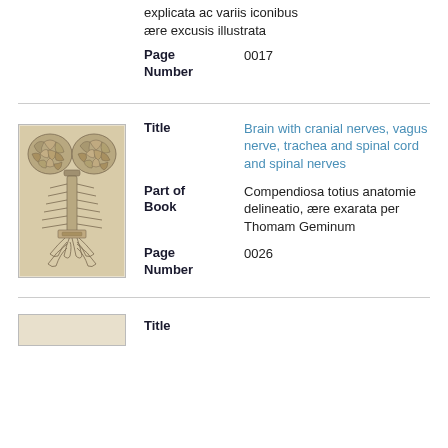explicata ac variis iconibus ære excusis illustrata
Page Number
0017
[Figure (illustration): Anatomical illustration showing brain from above with cranial nerves, trachea, and spinal cord]
Title
Brain with cranial nerves, vagus nerve, trachea and spinal cord and spinal nerves
Part of Book
Compendiosa totius anatomie delineatio, ære exarata per Thomam Geminum
Page Number
0026
Title